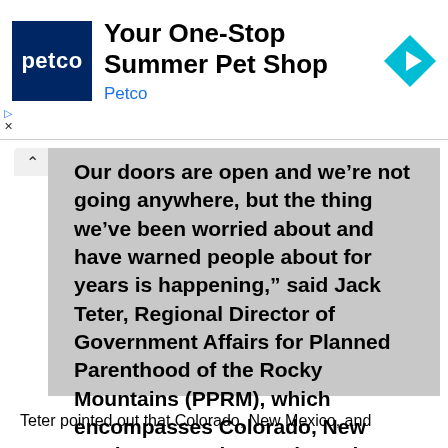[Figure (screenshot): Petco advertisement banner: 'Your One-Stop Summer Pet Shop' with Petco logo and navigation icon]
Our doors are open and we’re not going anywhere, but the thing we’ve been worried about and have warned people about for years is happening,” said Jack Teter, Regional Director of Government Affairs for Planned Parenthood of the Rocky Mountains (PPRM), which encompasses Colorado, New Mexico, Wyoming, and Southern Nevada.
Teter pointed out that Colorado, New Mexico, and